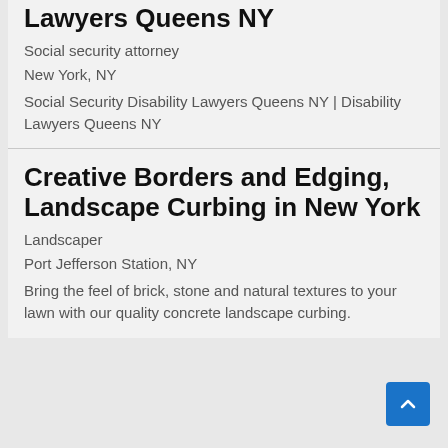Lawyers Queens NY
Social security attorney
New York, NY
Social Security Disability Lawyers Queens NY | Disability Lawyers Queens NY
Creative Borders and Edging, Landscape Curbing in New York
Landscaper
Port Jefferson Station, NY
Bring the feel of brick, stone and natural textures to your lawn with our quality concrete landscape curbing.